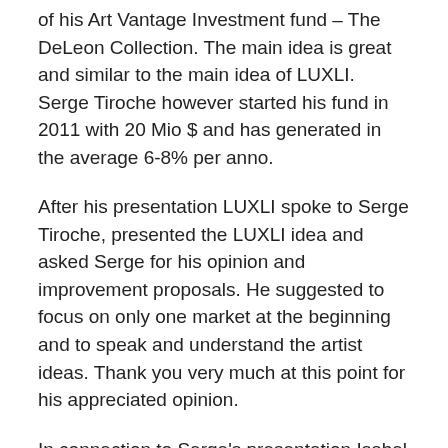of his Art Vantage Investment fund – The DeLeon Collection. The main idea is great and similar to the main idea of LUXLI. Serge Tiroche however started his fund in 2011 with 20 Mio $ and has generated in the average 6-8% per anno.
After his presentation LUXLI spoke to Serge Tiroche, presented the LUXLI idea and asked Serge for his opinion and improvement proposals. He suggested to focus on only one market at the beginning and to speak and understand the artist ideas. Thank you very much at this point for his appreciated opinion.
In connection to Serge's presentation Isabel Bernheimer (Bernheimer Contemporary), Rony More (art please), Robert Runtak (Robert Runtak international collection) and Csaba Toth (AMC Networks Central Eurono) talked about NEW